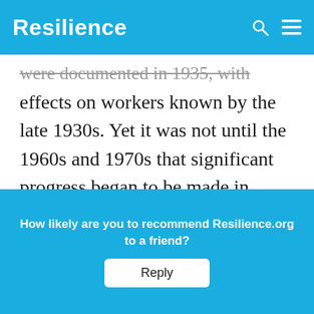Resilience
were documented in 1935, with effects on workers known by the late 1930s. Yet it was not until the 1960s and 1970s that significant progress began to be made in restricting the damage caused by these agents. One factor in the slow UK response to BSE was that the governmental regulatory body
How likely are you to recommend Resilience.org to a friend?
Reply